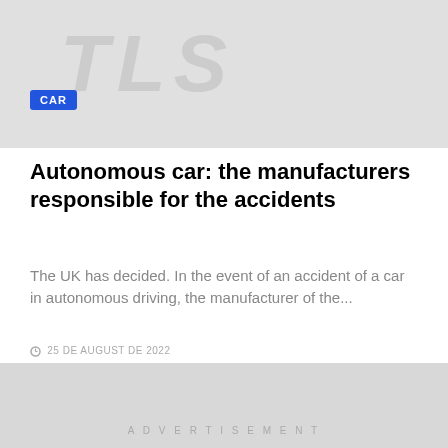[Figure (illustration): Gray banner image with large italic TLS watermark text and a blue CAR badge in the lower left]
Autonomous car: the manufacturers responsible for the accidents
The UK has decided. In the event of an accident of a car in autonomous driving, the manufacturer of the...
⊙ 25 DE AUGUST DE 2022
[Figure (photo): Gray placeholder image block]
ADVERTISEMENT